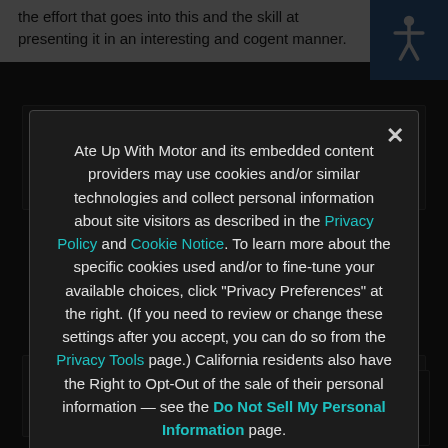the effort that goes into this and the skill at presenting it in an interesting and cogent manner.
And no, I don't want to borrow any money.
thanks
Michael — July 26, 2012 at 6:47 pm
Aaron,
Will you... looking at the Je...
Aaron Severson — July 26, 2012 at 10:45 pm
I will, although I decided that three Healeys in a row might be a bit much.
Ate Up With Motor and its embedded content providers may use cookies and/or similar technologies and collect personal information about site visitors as described in the Privacy Policy and Cookie Notice. To learn more about the specific cookies used and/or to fine-tune your available choices, click "Privacy Preferences" at the right. (If you need to review or change these settings after you accept, you can do so from the Privacy Tools page.) California residents also have the Right to Opt-Out of the sale of their personal information — see the Do Not Sell My Personal Information page.
Privacy Preferences
I Agree